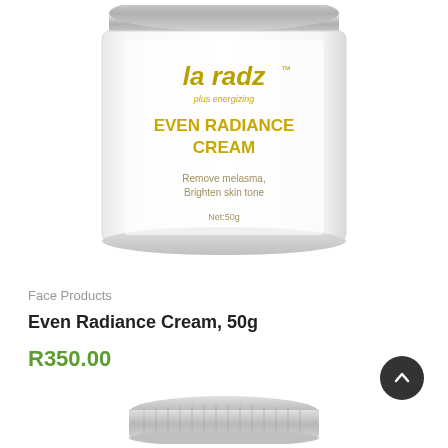[Figure (photo): Product photo of La Radz Even Radiance Cream 50g jar with silver lid, showing brand name and product text on label]
Face Products
Even Radiance Cream, 50g
R350.00
[Figure (photo): Bottom portion showing the silver lid/cap of the La Radz cream jar with ridged edges]